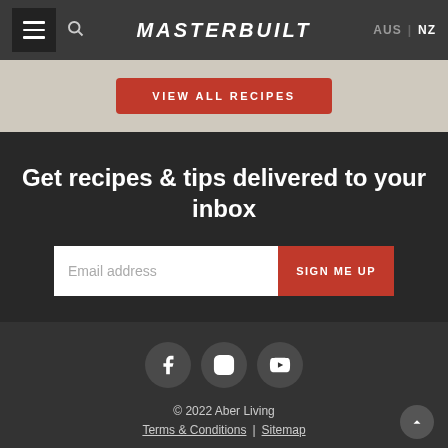MASTERBUILT — AUS | NZ
VIEW ALL RECIPES
Get recipes & tips delivered to your inbox
Email address — SIGN ME UP
[Figure (other): Social media icons: Facebook, Instagram, YouTube]
© 2022 Aber Living — Terms & Conditions | Sitemap